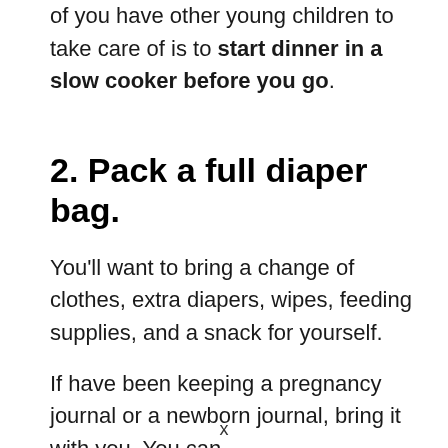of you have other young children to take care of is to start dinner in a slow cooker before you go.
2. Pack a full diaper bag.
You'll want to bring a change of clothes, extra diapers, wipes, feeding supplies, and a snack for yourself.
If have been keeping a pregnancy journal or a newborn journal, bring it with you. You can